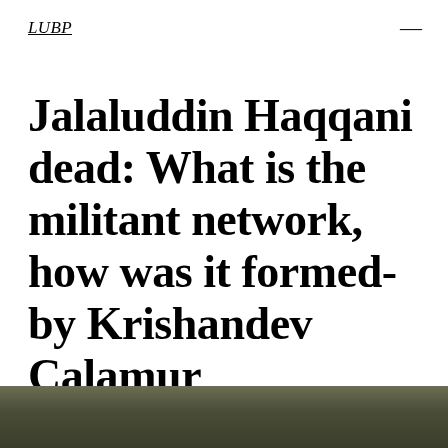LUBP
Jalaluddin Haqqani dead: What is the militant network, how was it formed- by Krishandev Calamur
[Figure (photo): Partial view of a photograph at the bottom of the page, showing a dark olive/military-toned image, likely a person or scene related to the article.]